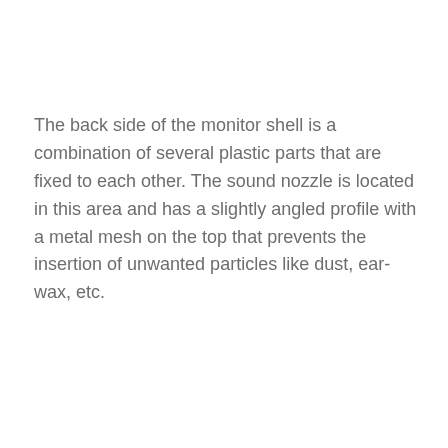The back side of the monitor shell is a combination of several plastic parts that are fixed to each other. The sound nozzle is located in this area and has a slightly angled profile with a metal mesh on the top that prevents the insertion of unwanted particles like dust, ear-wax, etc.